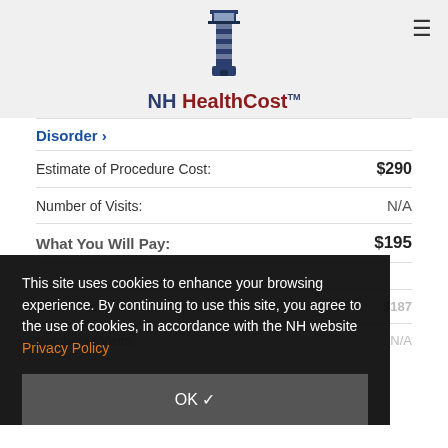NH HealthCost
Disorder >
Estimate of Procedure Cost: $290
Number of Visits: N/A
What You Will Pay: $195
This site uses cookies to enhance your browsing experience. By continuing to use this site, you agree to the use of cookies, in accordance with the NH website Privacy Policy
OK ✓
Estimate of Procedure Cost: $187
Number of Visits: N/A